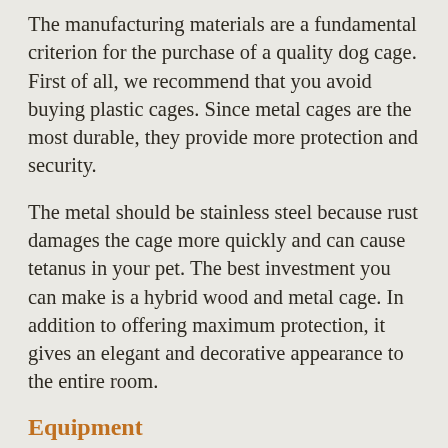The manufacturing materials are a fundamental criterion for the purchase of a quality dog cage. First of all, we recommend that you avoid buying plastic cages. Since metal cages are the most durable, they provide more protection and security.
The metal should be stainless steel because rust damages the cage more quickly and can cause tetanus in your pet. The best investment you can make is a hybrid wood and metal cage. In addition to offering maximum protection, it gives an elegant and decorative appearance to the entire room.
Equipment
When buying a cage, you need to consider the type of equipment you will be placing in it. We